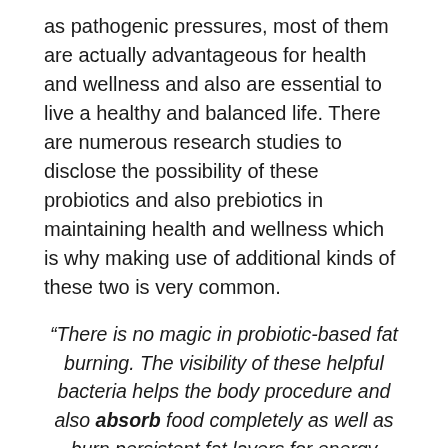as pathogenic pressures, most of them are actually advantageous for health and wellness and also are essential to live a healthy and balanced life. There are numerous research studies to disclose the possibility of these probiotics and also prebiotics in maintaining health and wellness which is why making use of additional kinds of these two is very common.
“There is no magic in probiotic-based fat burning. The visibility of these helpful bacteria helps the body procedure and also absorb food completely as well as burn persistent fat layers for energy production.”
The diversity in the microbiome implies leanbiome